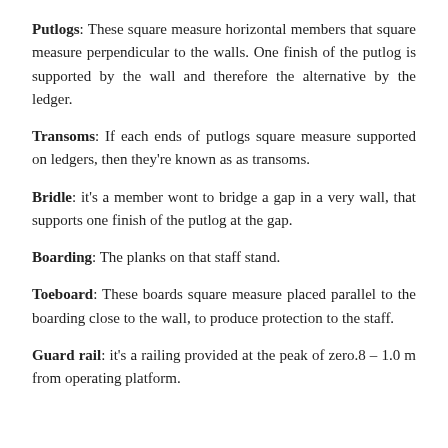Putlogs: These square measure horizontal members that square measure perpendicular to the walls. One finish of the putlog is supported by the wall and therefore the alternative by the ledger.
Transoms: If each ends of putlogs square measure supported on ledgers, then they're known as as transoms.
Bridle: it's a member wont to bridge a gap in a very wall, that supports one finish of the putlog at the gap.
Boarding: The planks on that staff stand.
Toeboard: These boards square measure placed parallel to the boarding close to the wall, to produce protection to the staff.
Guard rail: it's a railing provided at the peak of zero.8 – 1.0 m from operating platform.